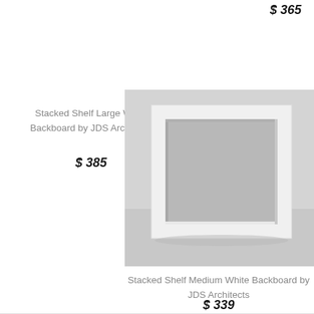$ 365
Stacked Shelf Large White Backboard by JDS Architects
$ 385
[Figure (photo): A white cube-shaped shelf box with open front, photographed against a light gray background]
Stacked Shelf Medium White Backboard by JDS Architects
$ 339